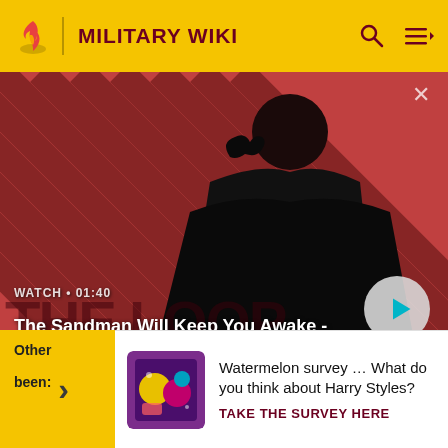MILITARY WIKI
[Figure (screenshot): Video thumbnail: dark-clad figure with a raven on shoulder, red-and-black diagonal striped background. Title card reads 'The Sandman Will Keep You Awake - The Loop', WATCH • 01:40, with a play button.]
greeted by protests.[7]
Othe...
Other...
been:
[Figure (infographic): Survey banner with colorful image (Watermelon survey artwork). Text: Watermelon survey … What do you think about Harry Styles? TAKE THE SURVEY HERE]